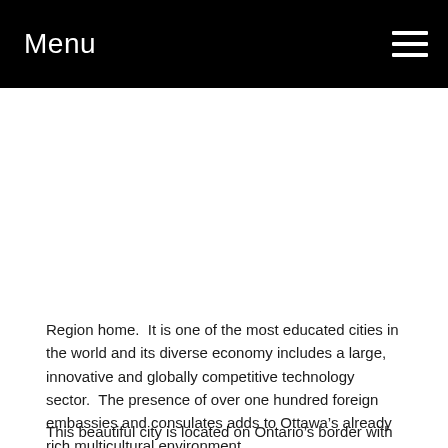Menu
[Figure (photo): Blank/white image area placeholder for a city photo]
Region home.  It is one of the most educated cities in the world and its diverse economy includes a large, innovative and globally competitive technology sector.  The presence of over one hundred foreign embassies and consulates adds to Ottawa’s already rich multicultural environment.
This beautiful city is located on Ontario’s border with Quebec